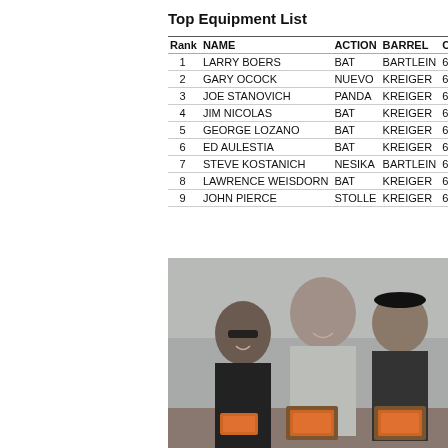Top Equipment List
| Rank | NAME | ACTION | BARREL | CALIBER | RA |
| --- | --- | --- | --- | --- | --- |
| 1 | LARRY BOERS | BAT | BARTLEIN | 6 PPC | YO |
| 2 | GARY OCOCK | NUEVO | KREIGER | 6 PPC | OC |
| 3 | JOE STANOVICH | PANDA | KREIGER | 6 PPC | YO |
| 4 | JIM NICOLAS | BAT | KREIGER | 6 PPC | KE |
| 5 | GEORGE LOZANO | BAT | KREIGER | 6PPC | YO |
| 6 | ED AULESTIA | BAT | KREIGER | 6 PPC | YO |
| 7 | STEVE KOSTANICH | NESIKA | BARTLEIN | 6 PPC | KO |
| 8 | LAWRENCE WEISDORN | BAT | KREIGER | 6 PPC | MA |
| 9 | JOHN PIERCE | STOLLE | KREIGER | 6 PPC | YO |
[Figure (photo): Three men standing together outdoors holding award plaques. Two men in the center and right are holding wooden plaques with orange inserts. The man on the left wears sunglasses and a black jacket.]